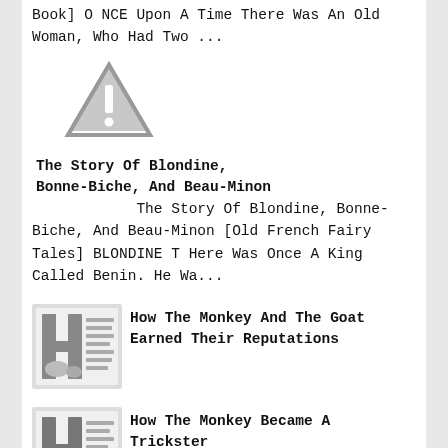Book] O NCE Upon A Time There Was An Old Woman, Who Had Two ...
[Figure (illustration): Warning triangle icon with exclamation mark]
The Story Of Blondine, Bonne-Biche, And Beau-Minon
The Story Of Blondine, Bonne-Biche, And Beau-Minon [Old French Fairy Tales] BLONDINE T Here Was Once A King Called Benin. He Wa...
[Figure (illustration): Decorative book cover thumbnail showing letter H with monkey and goat imagery]
How The Monkey And The Goat Earned Their Reputations
[Figure (illustration): Decorative book cover thumbnail showing letter H with monkey imagery]
How The Monkey Became A Trickster
How The Monkey Became A Trickster [Fairy Tales From Brazil] Once Upon A Time There Was A Beautiful Garden